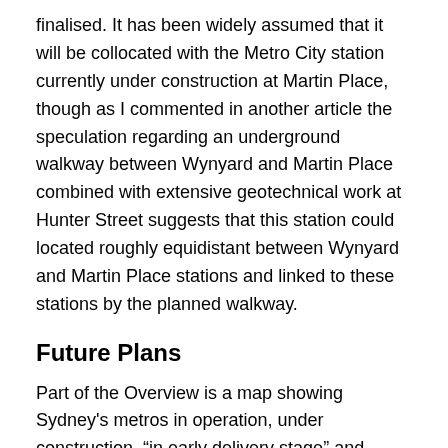finalised. It has been widely assumed that it will be collocated with the Metro City station currently under construction at Martin Place, though as I commented in another article the speculation regarding an underground walkway between Wynyard and Martin Place combined with extensive geotechnical work at Hunter Street suggests that this station could located roughly equidistant between Wynyard and Martin Place stations and linked to these stations by the planned walkway.
Future Plans
Part of the Overview is a map showing Sydney's metros in operation, under construction, “in early delivery stage” and planned. This indicates the Sydney Metro West’s potential to be extended to the southwest from Westmead to